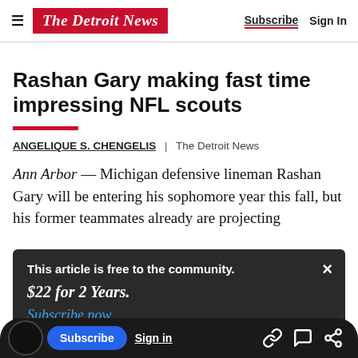The Detroit News  Subscribe  Sign In
Rashan Gary making fast time impressing NFL scouts
ANGELIQUE S. CHENGELIS  |  The Detroit News
Ann Arbor — Michigan defensive lineman Rashan Gary will be entering his sophomore year this fall, but his former teammates already are projecting...
This article is free to the community.
$22 for 2 Years.
Subscribe now
Advertisement
Subscribe  Sign in